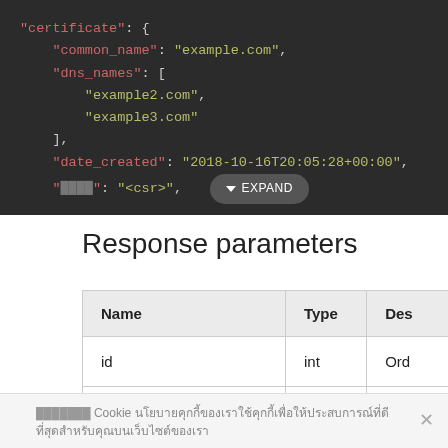[Figure (screenshot): Dark-themed code block showing JSON with certificate object containing common_name, dns_names array, date_created fields, and an EXPAND button overlay.]
Response parameters
| Name | Type | Des... |
| --- | --- | --- |
| id | int | Ord... |
| certificate | object | Deta... cert... |
Cookie [Thai text cookie consent notice]